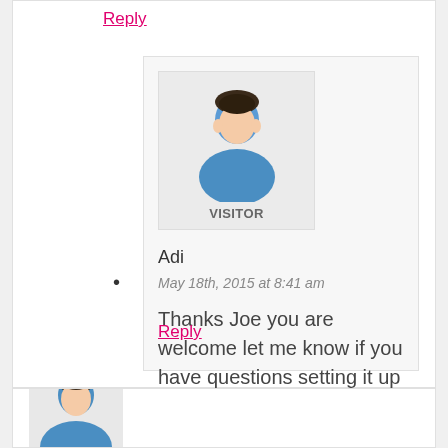Reply
[Figure (illustration): Generic visitor avatar icon - blue person silhouette with label VISITOR below]
Adi
May 18th, 2015 at 8:41 am
Thanks Joe you are welcome let me know if you have questions setting it up :)
Reply
[Figure (illustration): Second visitor avatar icon - blue person silhouette partially visible at bottom of page]